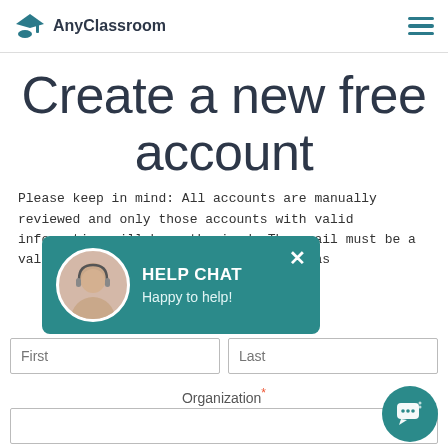AnyClassroom
Create a new free account
Please keep in mind: All accounts are manually reviewed and only those accounts with valid information will be authorized. The email must be a valid EDU email. Free email providers as
[Figure (screenshot): Help chat popup with avatar of a woman with headset, teal background, text HELP CHAT and Happy to help! with close X button]
First  Last
Organization *